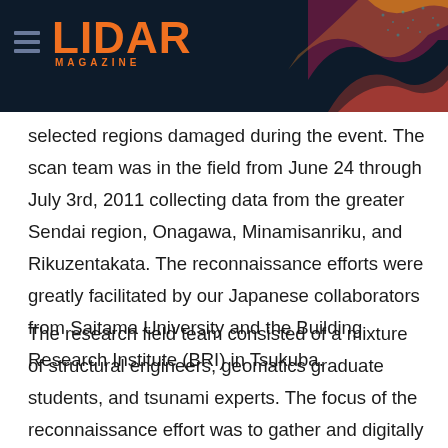LIDAR MAGAZINE
selected regions damaged during the event. The scan team was in the field from June 24 through July 3rd, 2011 collecting data from the greater Sendai region, Onagawa, Minamisanriku, and Rikuzentakata. The reconnaissance efforts were greatly facilitated by our Japanese collaborators from Saitama University and the Building Research Institute (BRI) in Tsukuba.
The research field team consisted of a mixture of structural engineers, geomatics graduate students, and tsunami experts. The focus of the reconnaissance effort was to gather and digitally preserve as much structural and topographic data